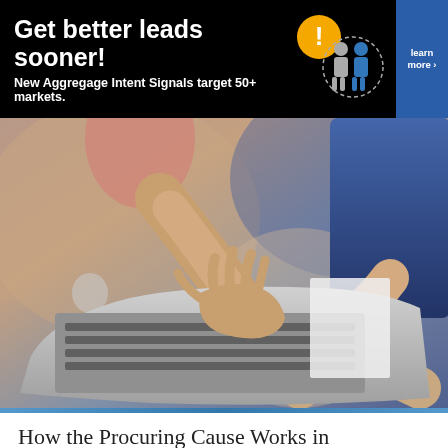[Figure (infographic): Advertisement banner: dark background with white bold text 'Get better leads sooner!' and subtitle 'New Aggregage Intent Signals target 50+ markets.' with human figure icons and orange exclamation mark, blue 'learn more' button on right.]
[Figure (photo): Photo of two people working at a laptop computer, one person typing on the keyboard while another points at the screen, blurred background.]
How the Procuring Cause Works in